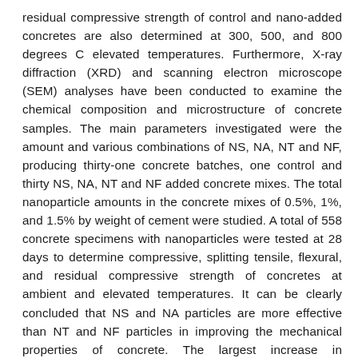residual compressive strength of control and nano-added concretes are also determined at 300, 500, and 800 degrees C elevated temperatures. Furthermore, X-ray diffraction (XRD) and scanning electron microscope (SEM) analyses have been conducted to examine the chemical composition and microstructure of concrete samples. The main parameters investigated were the amount and various combinations of NS, NA, NT and NF, producing thirty-one concrete batches, one control and thirty NS, NA, NT and NF added concrete mixes. The total nanoparticle amounts in the concrete mixes of 0.5%, 1%, and 1.5% by weight of cement were studied. A total of 558 concrete specimens with nanoparticles were tested at 28 days to determine compressive, splitting tensile, flexural, and residual compressive strength of concretes at ambient and elevated temperatures. It can be clearly concluded that NS and NA particles are more effective than NT and NF particles in improving the mechanical properties of concrete. The largest increase in compressive, splitting tensile, and flexural strength was obtained for 1.5% of NS and NA hybrid combination as 13.95%, 18.55%, and 21.88%, respectively. Furthermore, the residual compressive strength